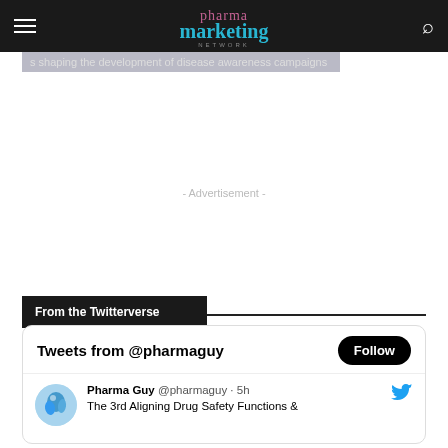pharma marketing network
s shaping the development of disease awareness campaigns
- Advertisement -
From the Twitterverse
Tweets from @pharmaguy
Pharma Guy @pharmaguy · 5h The 3rd Aligning Drug Safety Functions &